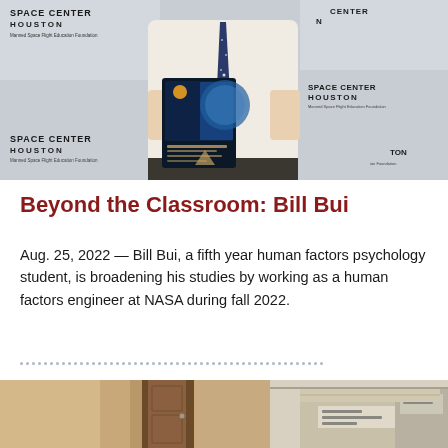[Figure (photo): A man in a white shirt and dark tie holding a NASA Space Center Houston award plaque or booklet, standing in front of a Space Center Houston backdrop. The Space Center Houston logo appears multiple times on the backdrop.]
Beyond the Classroom: Bill Bui
Aug. 25, 2022 — Bill Bui, a fifth year human factors psychology student, is broadening his studies by working as a human factors engineer at NASA during fall 2022.
[Figure (photo): Partial view of a room interior with a door and cardboard boxes visible on the right side.]